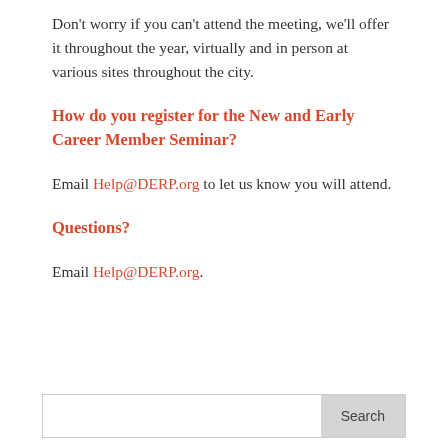Don't worry if you can't attend the meeting, we'll offer it throughout the year, virtually and in person at various sites throughout the city.
How do you register for the New and Early Career Member Seminar?
Email Help@DERP.org to let us know you will attend.
Questions?
Email Help@DERP.org.